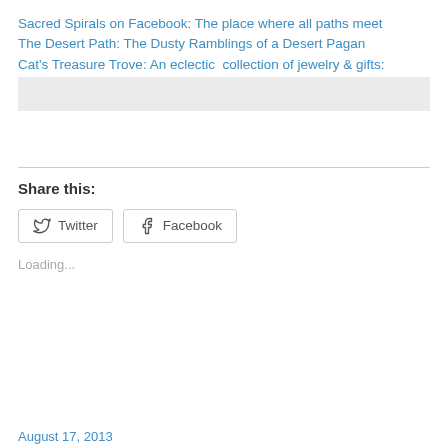Sacred Spirals on Facebook: The place where all paths meet
The Desert Path: The Dusty Ramblings of a Desert Pagan
Cat's Treasure Trove: An eclectic  collection of jewelry & gifts:
Share this:
Loading...
August 17, 2013